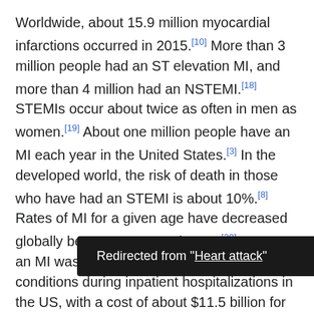Worldwide, about 15.9 million myocardial infarctions occurred in 2015.[10] More than 3 million people had an ST elevation MI, and more than 4 million had an NSTEMI.[18] STEMIs occur about twice as often in men as women.[19] About one million people have an MI each year in the United States.[3] In the developed world, the risk of death in those who have had an STEMI is about 10%.[8] Rates of MI for a given age have decreased globally between 1990 and 2010.[20] In 2011, an MI was one of the top five most expensive conditions during inpatient hospitalizations in the US, with a cost of about $11.5 billion for 612,000 hospital stays.[21]
Terminology
Redirected from "Heart attack"
Signs and symptoms